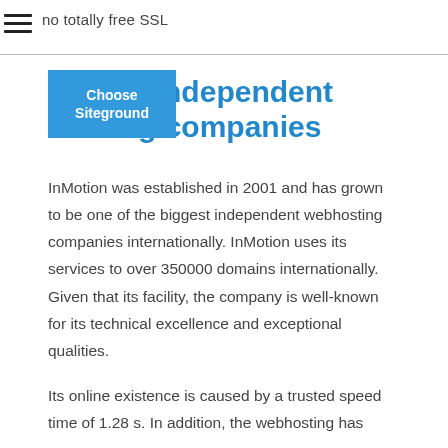no totally free SSL
[Figure (other): Hamburger menu icon (three horizontal lines)]
largest independent hosting companies
[Figure (other): Blue button labeled 'Choose Siteground']
InMotion was established in 2001 and has grown to be one of the biggest independent webhosting companies internationally. InMotion uses its services to over 350000 domains internationally. Given that its facility, the company is well-known for its technical excellence and exceptional qualities.
Its online existence is caused by a trusted speed time of 1.28 s. In addition, the webhosting has